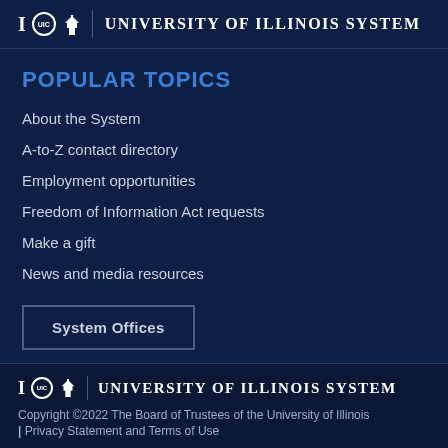University of Illinois System
POPULAR TOPICS
About the System
A-to-Z contact directory
Employment opportunities
Freedom of Information Act requests
Make a gift
News and media resources
System Offices
University of Illinois System
Copyright ©2022 The Board of Trustees of the University of Illinois | Privacy Statement and Terms of Use